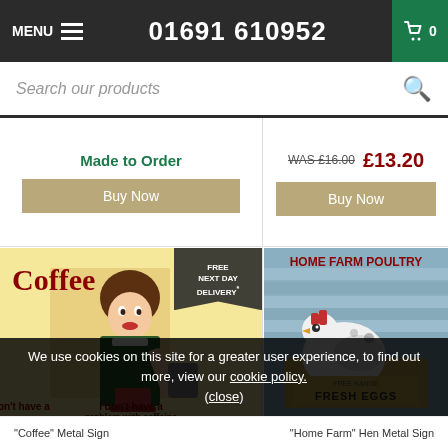MENU  01691 610952  0
Search our products
Made to Order
WAS £16.00  £13.20
Buy Now
Buy Now
[Figure (photo): Retro vintage coffee metal sign showing a 1950s woman pouring coffee with text 'I don't have a problem with caffeine I have a problem without it!' and FREE NEXT DAY DELIVERY badge]
[Figure (photo): Home Farm Poultry metal sign showing a white hen with 'HOME FARM POULTRY Free Range Fresh Eggs Old English Rare Breeds' text on rustic wood background]
We use cookies on this site for a greater user experience, to find out more, view our cookie policy.
(close)
"Coffee" Metal Sign
"Home Farm" Hen Metal Sign